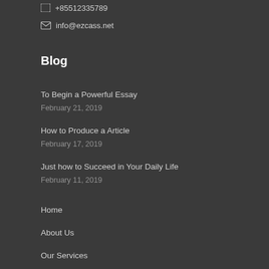+85512335789
info@ezcass.net
Blog
To Begin a Powerful Essay
February 21, 2019
How to Produce a Article
February 17, 2019
Just how to Succeed in Your Daily Life
February 11, 2019
Home
About Us
Our Services